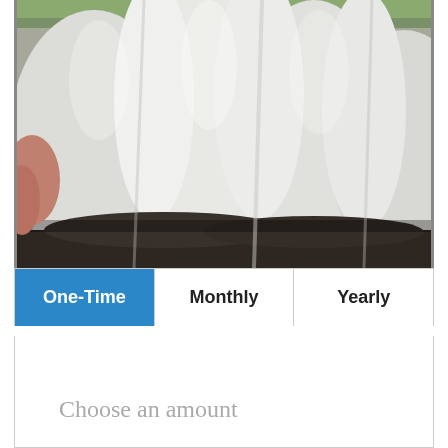[Figure (photo): Close-up photo of white cattle/cows facing downward, showing their backs and necks from above, with dark ground beneath them and green grass visible at the top.]
One-Time | Monthly | Yearly
Choose an amount